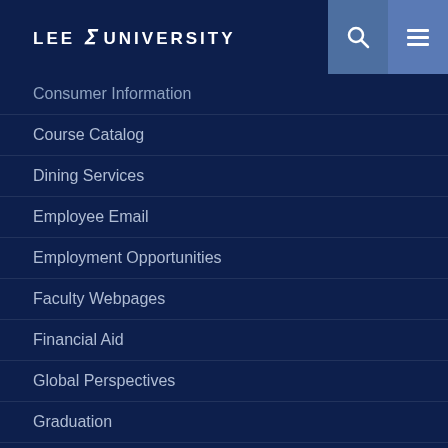LEE UNIVERSITY
Consumer Information
Course Catalog
Dining Services
Employee Email
Employment Opportunities
Faculty Webpages
Financial Aid
Global Perspectives
Graduation
IT Help Desk
Institutional Research